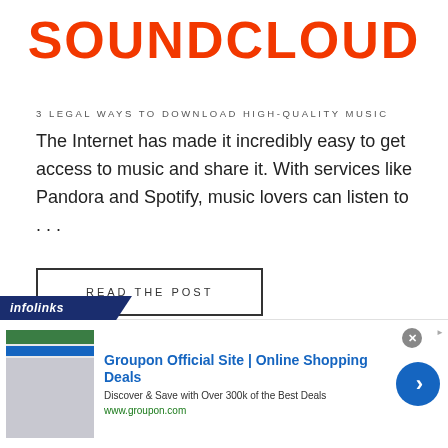SOUNDCLOUD
3 LEGAL WAYS TO DOWNLOAD HIGH-QUALITY MUSIC
The Internet has made it incredibly easy to get access to music and share it. With services like Pandora and Spotify, music lovers can listen to . . .
READ THE POST
[Figure (screenshot): Infolinks advertisement banner with Groupon ad showing 'Groupon Official Site | Online Shopping Deals', 'Discover & Save with Over 300k of the Best Deals', 'www.groupon.com', with a blue arrow button and close button]